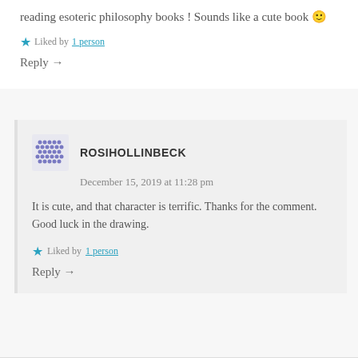reading esoteric philosophy books ! Sounds like a cute book 🙂
★ Liked by 1 person
Reply →
ROSIHOLLINBECK
December 15, 2019 at 11:28 pm
It is cute, and that character is terrific. Thanks for the comment. Good luck in the drawing.
★ Liked by 1 person
Reply →